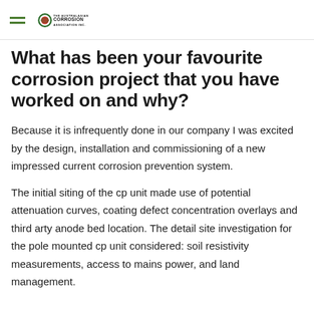The Australasian Corrosion Association Inc.
What has been your favourite corrosion project that you have worked on and why?
Because it is infrequently done in our company I was excited by the design, installation and commissioning of a new impressed current corrosion prevention system.
The initial siting of the cp unit made use of potential attenuation curves, coating defect concentration overlays and third arty anode bed location. The detail site investigation for the pole mounted cp unit considered: soil resistivity measurements, access to mains power, and land management.